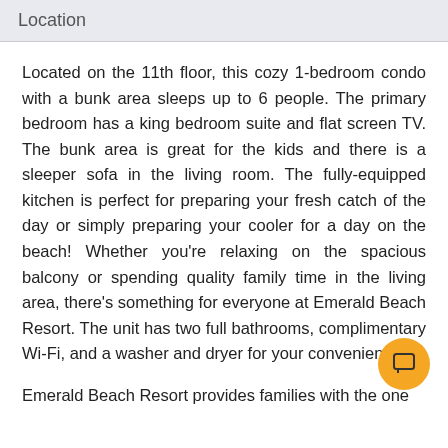Location
Located on the 11th floor, this cozy 1-bedroom condo with a bunk area sleeps up to 6 people. The primary bedroom has a king bedroom suite and flat screen TV. The bunk area is great for the kids and there is a sleeper sofa in the living room. The fully-equipped kitchen is perfect for preparing your fresh catch of the day or simply preparing your cooler for a day on the beach! Whether you're relaxing on the spacious balcony or spending quality family time in the living area, there's something for everyone at Emerald Beach Resort. The unit has two full bathrooms, complimentary Wi-Fi, and a washer and dryer for your convenience.
Emerald Beach Resort provides families with the one